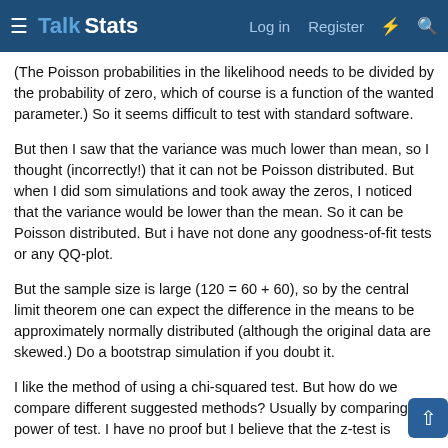Talk Stats — Log in  Register
(The Poisson probabilities in the likelihood needs to be divided by the probability of zero, which of course is a function of the wanted parameter.) So it seems difficult to test with standard software.
But then I saw that the variance was much lower than mean, so I thought (incorrectly!) that it can not be Poisson distributed. But when I did som simulations and took away the zeros, I noticed that the variance would be lower than the mean. So it can be Poisson distributed. But i have not done any goodness-of-fit tests or any QQ-plot.
But the sample size is large (120 = 60 + 60), so by the central limit theorem one can expect the difference in the means to be approximately normally distributed (although the original data are skewed.) Do a bootstrap simulation if you doubt it.
I like the method of using a chi-squared test. But how do we compare different suggested methods? Usually by comparing the power of test. I have no proof but I believe that the z-test is